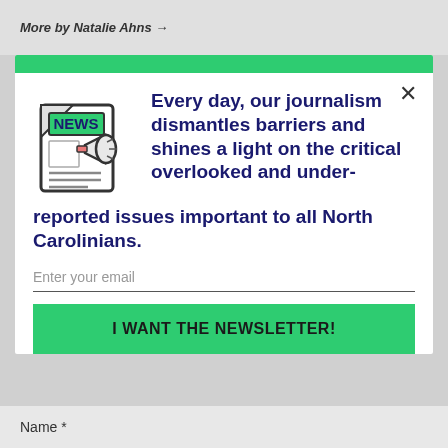More by Natalie Ahns →
[Figure (illustration): Newspaper icon with NEWS header and megaphone graphic]
Every day, our journalism dismantles barriers and shines a light on the critical overlooked and under-reported issues important to all North Carolinians.
Enter your email
I WANT THE NEWSLETTER!
Name *